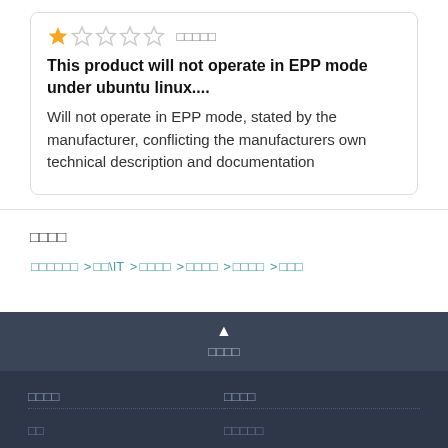[Figure (other): Star rating: 1 out of 5 stars (one filled orange star, four empty stars), followed by CJK text label]
This product will not operate in EPP mode under ubuntu linux....
Will not operate in EPP mode, stated by the manufacturer, conflicting the manufacturers own technical description and documentation
□□□□ (CJK section heading)
□□□□□□ >□□\IT >□□□□ >□□□□ >□□□□ >□□□ (breadcrumb navigation)
▲ □□□□ (back to top)
□□□□  □□□□ / □□  □□□□□ (footer columns)